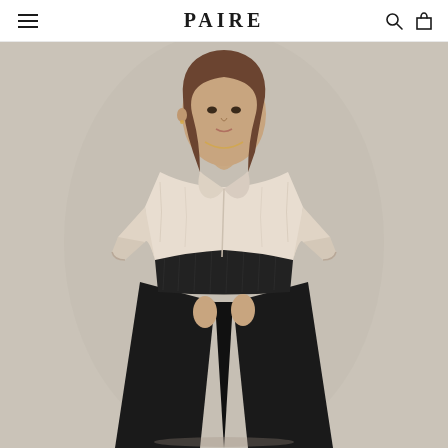PAIRE — navigation header with menu, logo, search and cart icons
[Figure (photo): Fashion model wearing a cream/white open-collar blouse with rolled sleeves and wide-leg black smocked-waist palazzo pants, posed against a warm beige/taupe studio background. She has long brown hair and gold jewelry.]